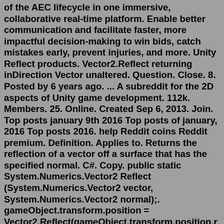of the AEC lifecycle in one immersive, collaborative real-time platform. Enable better communication and facilitate faster, more impactful decision-making to win bids, catch mistakes early, prevent injuries, and more. Unity Reflect products. Vector2.Reflect returning inDirection Vector unaltered. Question. Close. 8. Posted by 6 years ago. ... A subreddit for the 2D aspects of Unity game development. 112k. Members. 25. Online. Created Sep 6, 2013. Join. Top posts january 9th 2016 Top posts of january, 2016 Top posts 2016. help Reddit coins Reddit premium. Definition. Applies to. Returns the reflection of a vector off a surface that has the specified normal. C#. Copy. public static System.Numerics.Vector2 Reflect (System.Numerics.Vector2 vector, System.Numerics.Vector2 normal);. gameObject.transform.position = Vector2.Reflect(gameObject.transform.position,reflectN The reflectPoint.normal (RaycastHit) Comes back (0,0,-1,0) when it hits the wall This is the result when it reflects. Unity is the ultimate tool for video game